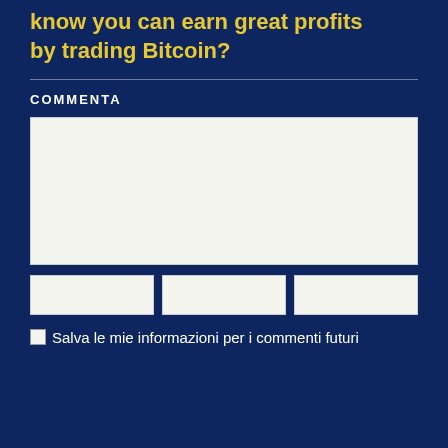know you can earn great profits by trading Bitcoin?
COMMENTA
Salva le mie informazioni per i commenti futuri